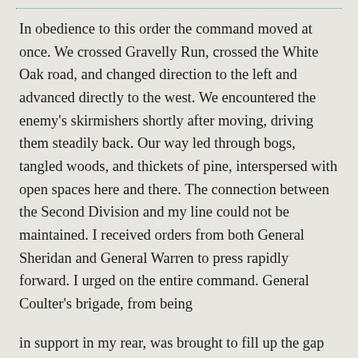In obedience to this order the command moved at once. We crossed Gravelly Run, crossed the White Oak road, and changed direction to the left and advanced directly to the west. We encountered the enemy's skirmishers shortly after moving, driving them steadily back. Our way led through bogs, tangled woods, and thickets of pine, interspersed with open spaces here and there. The connection between the Second Division and my line could not be maintained. I received orders from both General Sheridan and General Warren to press rapidly forward. I urged on the entire command. General Coulter's brigade, from being

in support in my rear, was brought to fill up the gap on the left between me and the Second Division. I pressed immediately on and found myself in the